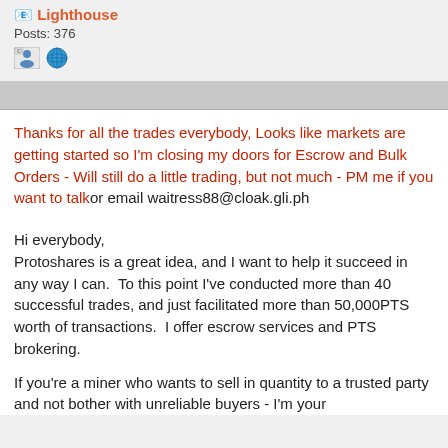Lighthouse
Posts: 376
Thanks for all the trades everybody, Looks like markets are getting started so I'm closing my doors for Escrow and Bulk Orders - Will still do a little trading, but not much - PM me if you want to talkor email waitress88@cloak.gli.ph
Hi everybody,
Protoshares is a great idea, and I want to help it succeed in any way I can.  To this point I've conducted more than 40 successful trades, and just facilitated more than 50,000PTS worth of transactions.  I offer escrow services and PTS brokering.
If you're a miner who wants to sell in quantity to a trusted party and not bother with unreliable buyers - I'm your